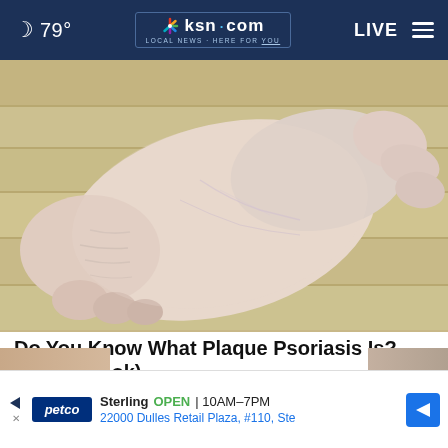🌙 79° | ksn.com LOCAL NEWS · HERE FOR YOU | LIVE
[Figure (photo): Close-up photo of a person's foot and ankle showing pale skin with visible veins and texture, resting on a wooden floor surface, another hand visible holding the foot from behind]
Do You Know What Plaque Psoriasis Is? (Take a Look)
Smart Lifestyle Trends
[Figure (photo): Partial advertisement banner showing Petco logo with Sterling store information: OPEN 10AM-7PM, 22000 Dulles Retail Plaza, #110, Ste with navigation arrow icon]